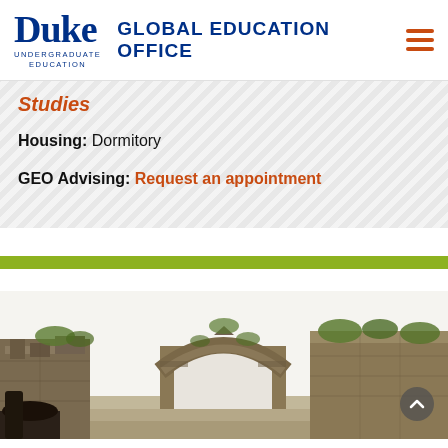Duke Undergraduate Education | GLOBAL EDUCATION OFFICE
Studies
Housing: Dormitory
GEO Advising: Request an appointment
[Figure (photo): Ruins of an ancient stone archway and walls, photographed against a white sky. Vegetation grows on and around the crumbling stone structures.]